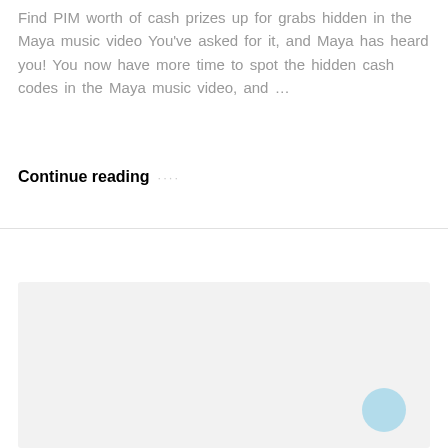Find PIM worth of cash prizes up for grabs hidden in the Maya music video You've asked for it, and Maya has heard you! You now have more time to spot the hidden cash codes in the Maya music video, and ...
Continue reading ....
[Figure (other): A light gray rectangular placeholder box, likely an image or advertisement area, with a light blue circular chat bubble icon in the bottom-right corner.]